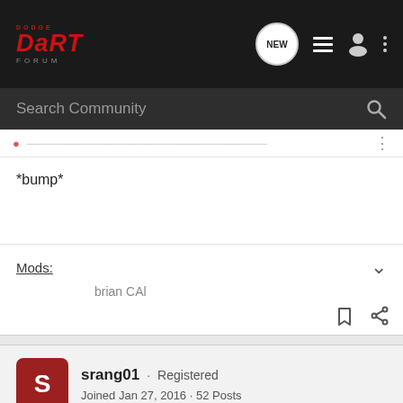Dodge Dart Forum
*bump*
Mods:
brian CAl
srang01 · Registered
Joined Jan 27, 2016 · 52 Posts
Discussion Starter · #4 · Apr 19, 2017